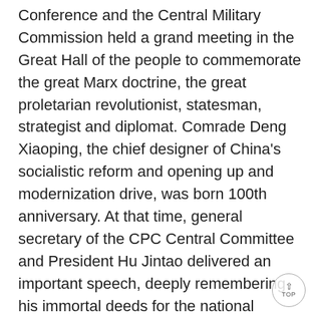Conference and the Central Military Commission held a grand meeting in the Great Hall of the people to commemorate the great Marx doctrine, the great proletarian revolutionist, statesman, strategist and diplomat. Comrade Deng Xiaoping, the chief designer of China's socialistic reform and opening up and modernization drive, was born 100th anniversary. At that time, general secretary of the CPC Central Committee and President Hu Jintao delivered an important speech, deeply remembering his immortal deeds for the national independence, the liberation of the people, the prosperity of the country and the happiness of the people. He recalled and studied his lofty demeanor of unremitting struggle for the cause of the party and people, and further encouraged the whole Party and the people of all ethnic groups to push forward the cause of socialism with Chinese characteristics. The commemorative meeting was